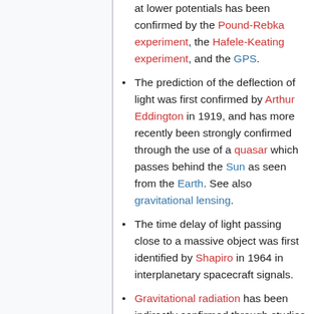at lower potentials has been confirmed by the Pound-Rebka experiment, the Hafele-Keating experiment, and the GPS.
The prediction of the deflection of light was first confirmed by Arthur Eddington in 1919, and has more recently been strongly confirmed through the use of a quasar which passes behind the Sun as seen from the Earth. See also gravitational lensing.
The time delay of light passing close to a massive object was first identified by Shapiro in 1964 in interplanetary spacecraft signals.
Gravitational radiation has been indirectly confirmed through studies of binary pulsars.
The expansion of the universe